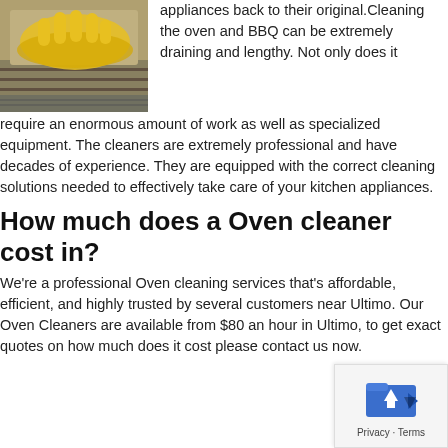[Figure (photo): Yellow rubber glove cleaning a kitchen appliance/oven surface]
appliances back to their original.Cleaning the oven and BBQ can be extremely draining and lengthy. Not only does it require an enormous amount of work as well as specialized equipment. The cleaners are extremely professional and have decades of experience. They are equipped with the correct cleaning solutions needed to effectively take care of your kitchen appliances.
How much does a Oven cleaner cost in?
We're a professional Oven cleaning services that's affordable, efficient, and highly trusted by several customers near Ultimo. Our Oven Cleaners are available from $80 an hour in Ultimo, to get exact quotes on how much does it cost please contact us now.
[Figure (other): Privacy badge with blue folder icon and Privacy - Terms text]